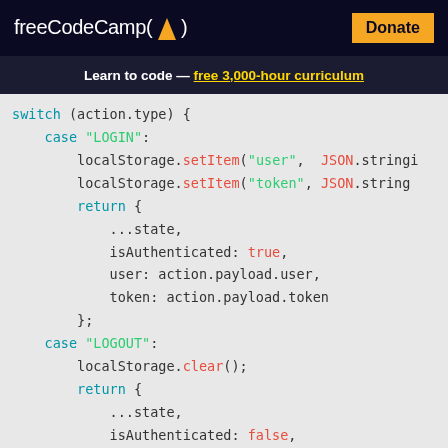freeCodeCamp(🔥)   Donate
Learn to code — free 3,000-hour curriculum
[Figure (screenshot): JavaScript code snippet showing a Redux reducer with switch statement handling LOGIN and LOGOUT cases, using localStorage and returning state objects with isAuthenticated, user, and token fields.]